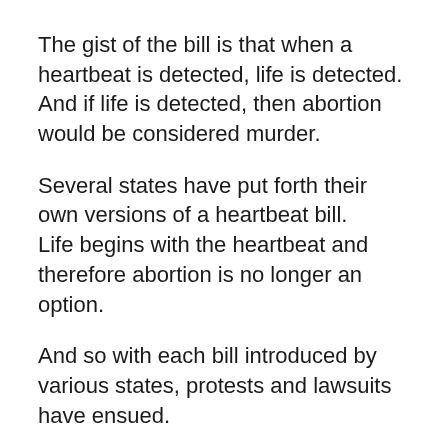The gist of the bill is that when a heartbeat is detected, life is detected. And if life is detected, then abortion would be considered murder.
Several states have put forth their own versions of a heartbeat bill. Life begins with the heartbeat and therefore abortion is no longer an option.
And so with each bill introduced by various states, protests and lawsuits have ensued.
Sadly but not surprisingly, Georgia's bill has been deemed unconstitutional.
Many cases have been going from court to court, with